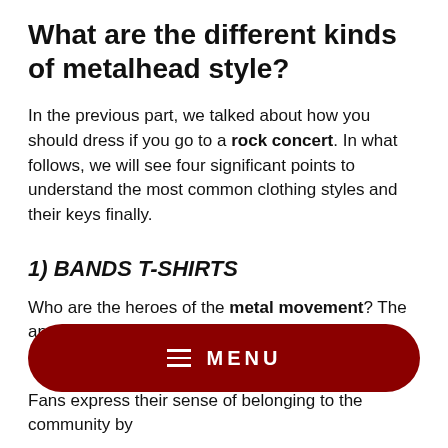What are the different kinds of metalhead style?
In the previous part, we talked about how you should dress if you go to a rock concert. In what follows, we will see four significant points to understand the most common clothing styles and their keys finally.
1) BANDS T-SHIRTS
Who are the heroes of the metal movement? The answer seems very obvious. Metal bands are the center of this
[Figure (other): Dark red rounded rectangle menu button with hamburger icon and MENU text in white]
Fans express their sense of belonging to the community by